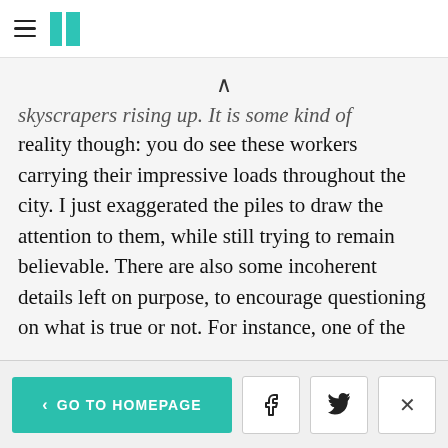HuffPost navigation header with hamburger menu and logo
skyscrapers rising up. It is some kind of augmented reality though: you do see these workers carrying their impressive loads throughout the city. I just exaggerated the piles to draw the attention to them, while still trying to remain believable. There are also some incoherent details left on purpose, to encourage questioning on what is true or not. For instance, one of the workers drives with flowers in front of his eyes. How could he do that in real life?"
< GO TO HOMEPAGE  [Facebook] [Twitter] [X]